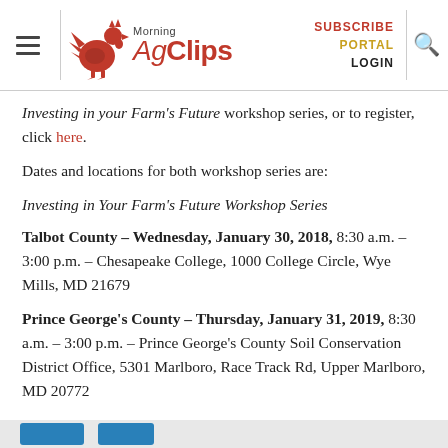Morning AgClips — SUBSCRIBE PORTAL LOGIN
Investing in your Farm's Future workshop series, or to register, click here.
Dates and locations for both workshop series are:
Investing in Your Farm's Future Workshop Series
Talbot County – Wednesday, January 30, 2018, 8:30 a.m. – 3:00 p.m. – Chesapeake College, 1000 College Circle, Wye Mills, MD 21679
Prince George's County – Thursday, January 31, 2019, 8:30 a.m. – 3:00 p.m. – Prince George's County Soil Conservation District Office, 5301 Marlboro, Race Track Rd, Upper Marlboro, MD 20772